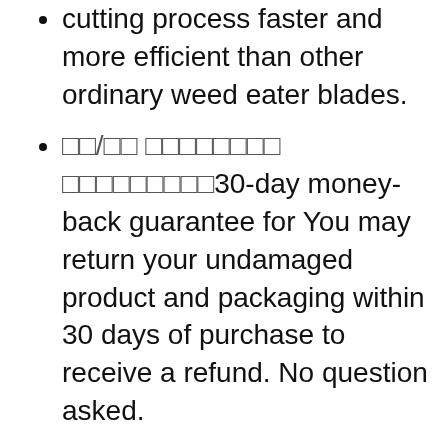cutting process faster and more efficient than other ordinary weed eater blades.
□□/□□ □□□□□□□□ □□□□□□□□□30-day money-back guarantee for You may return your undamaged product and packaging within 30 days of purchase to receive a refund. No question asked.
□□□□□□□ □□□□□□□The hollow design on the brush blade helps cool faster during use, cut down the noise created, and keep balance with less vibration, making the cutting process smoother and safer.
□□□□□□□□ □□□□□□□□□ One 25.4cm/10″ 40T blade cut efficiently suitable for clearing land.